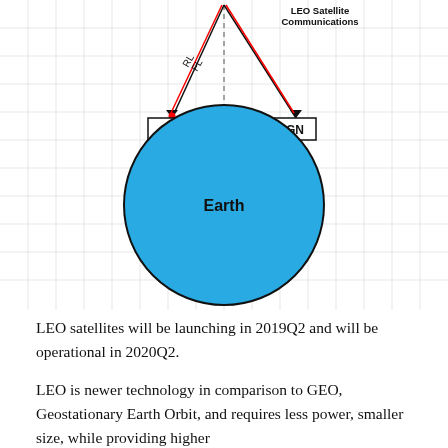[Figure (schematic): Diagram of LEO Satellite Communications showing a satellite at the top sending signals (labeled RL and FL) down to two ground stations labeled UT and GN on either side of a large blue circle labeled Earth. A dashed vertical line passes through the center top to the satellite. Black arrows indicate signal paths from satellite to UT and GN.]
LEO satellites will be launching in 2019Q2 and will be operational in 2020Q2.
LEO is newer technology in comparison to GEO, Geostationary Earth Orbit, and requires less power, smaller size, while providing higher